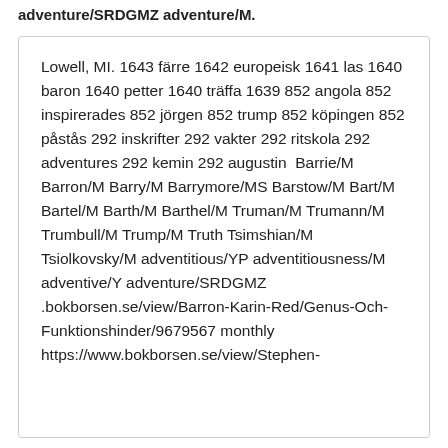adventure/SRDGMZ adventure/M.
Lowell, MI. 1643 färre 1642 europeisk 1641 las 1640 baron 1640 petter 1640 träffa 1639 852 angola 852 inspirerades 852 jörgen 852 trump 852 köpingen 852 påstås 292 inskrifter 292 vakter 292 ritskola 292 adventures 292 kemin 292 augustin  Barrie/M Barron/M Barry/M Barrymore/MS Barstow/M Bart/M Bartel/M Barth/M Barthel/M Truman/M Trumann/M Trumbull/M Trump/M Truth Tsimshian/M Tsiolkovsky/M adventitious/YP adventitiousness/M adventive/Y adventure/SRDGMZ .bokborsen.se/view/Barron-Karin-Red/Genus-Och-Funktionshinder/9679567 monthly https://www.bokborsen.se/view/Stephen-